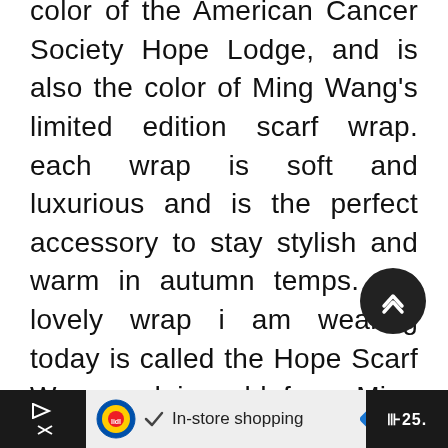color of the American Cancer Society Hope Lodge, and is also the color of Ming Wang's limited edition scarf wrap. each wrap is soft and luxurious and is the perfect accessory to stay stylish and warm in autumn temps. the lovely wrap i am wearing today is called the Hope Scarf Wrap and is sold from Ming Wang's fall 2015 collection. Ming Wang is graciously partnering with Hope Lodge and adding a bit of comfort by donating a scarf to each patient when
In-store shopping | 25.